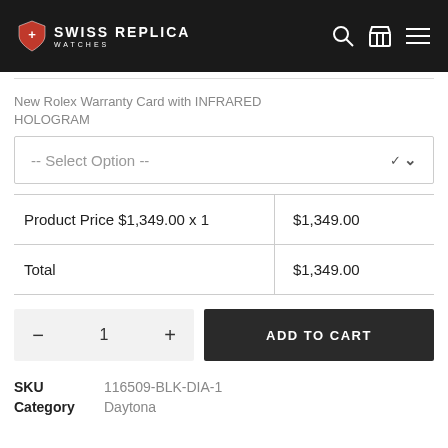[Figure (logo): Swiss Replica Watches logo with red shield icon and white text on black header bar, with search, cart, and menu icons]
New Rolex Warranty Card with INFRARED HOLOGRAM
-- Select Option --
|  |  |
| --- | --- |
| Product Price $1,349.00 x 1 | $1,349.00 |
| Total | $1,349.00 |
ADD TO CART
SKU	116509-BLK-DIA-1
Category	Daytona